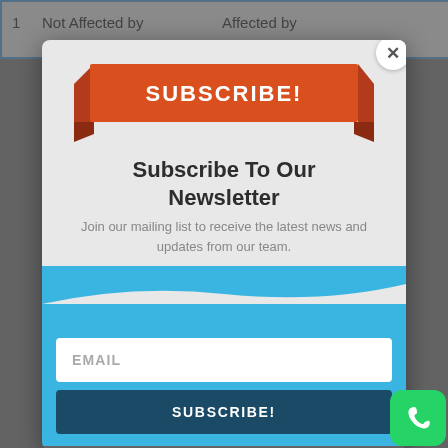|  | Not Affected by | Affected by |
| --- | --- | --- |
[Figure (screenshot): Newsletter subscription modal popup with orange ribbon banner saying SUBSCRIBE!, title 'Subscribe To Our Newsletter', subtitle text, email input field, and a dark blue SUBSCRIBE! button, over a blue background with wave divider.]
Subscribe To Our Newsletter
Join our mailing list to receive the latest news and updates from our team.
EMAIL
SUBSCRIBE!